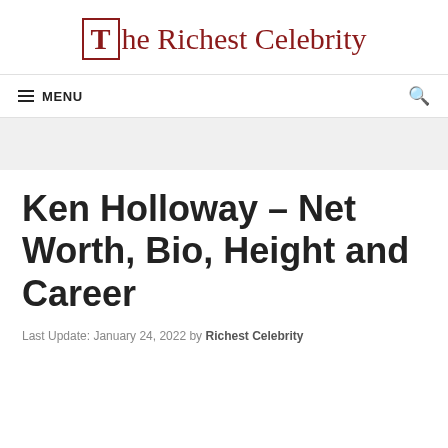The Richest Celebrity
Ken Holloway – Net Worth, Bio, Height and Career
Last Update: January 24, 2022 by Richest Celebrity